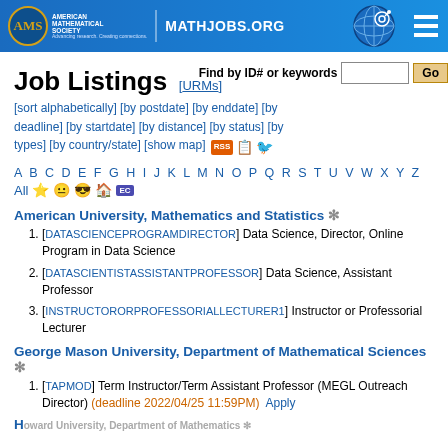AMS MATHJOBS.ORG
Job Listings [URMs]
[sort alphabetically] [by postdate] [by enddate] [by deadline] [by startdate] [by distance] [by status] [by types] [by country/state] [show map] RSS
Find by ID# or keywords   Go
A B C D E F G H I J K L M N O P Q R S T U V W X Y Z All
American University, Mathematics and Statistics *
1. [DATASCIENCEPROGRAMDIRECTOR] Data Science, Director, Online Program in Data Science
2. [DATASCIENTISTASSISTANTPROFESSOR] Data Science, Assistant Professor
3. [INSTRUCTORORPROFESSORIALLECTURER1] Instructor or Professorial Lecturer
George Mason University, Department of Mathematical Sciences *
1. [TAPMOD] Term Instructor/Term Assistant Professor (MEGL Outreach Director) (deadline 2022/04/25 11:59PM)  Apply